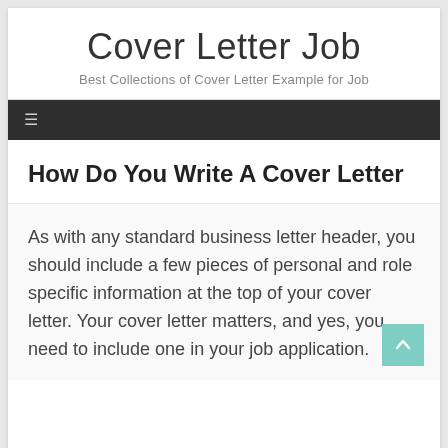Cover Letter Job
Best Collections of Cover Letter Example for Job
[Figure (other): Dark navigation bar with hamburger menu icon]
How Do You Write A Cover Letter
As with any standard business letter header, you should include a few pieces of personal and role specific information at the top of your cover letter. Your cover letter matters, and yes, you need to include one in your job application.